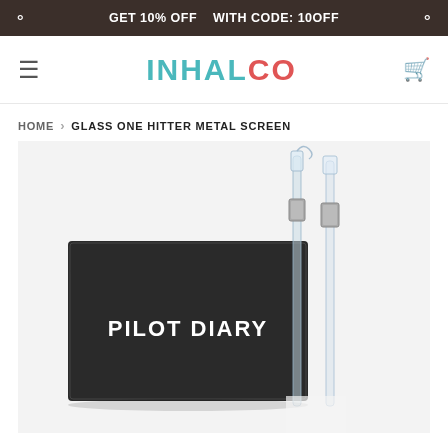GET 10% OFF WITH CODE: 10OFF
INHALCO
HOME › GLASS ONE HITTER METAL SCREEN
[Figure (photo): Product photo showing a Pilot Diary branded black box with two glass one hitter pipes with metal screens on a light grey background]